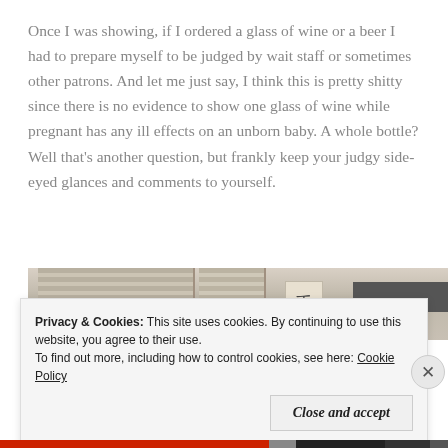Once I was showing, if I ordered a glass of wine or a beer I had to prepare myself to be judged by wait staff or sometimes other patrons. And let me just say, I think this is pretty shitty since there is no evidence to show one glass of wine while pregnant has any ill effects on an unborn baby. A whole bottle? Well that's another question, but frankly keep your judgy side-eyed glances and comments to yourself.
[Figure (photo): Partial view of a room showing window blinds on the left, a sign on the wall, and a dark rectangular object on the right side.]
Privacy & Cookies: This site uses cookies. By continuing to use this website, you agree to their use.
To find out more, including how to control cookies, see here: Cookie Policy
Close and accept